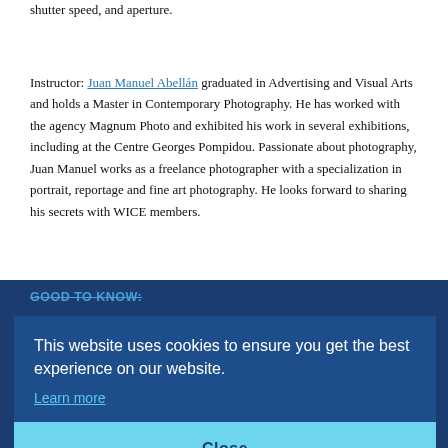shutter speed, and aperture.
Instructor: Juan Manuel Abellán graduated in Advertising and Visual Arts and holds a Master in Contemporary Photography. He has worked with the agency Magnum Photo and exhibited his work in several exhibitions, including at the Centre Georges Pompidou. Passionate about photography, Juan Manuel works as a freelance photographer with a specialization in portrait, reportage and fine art photography. He looks forward to sharing his secrets with WICE members.
GOOD TO KNOW:
[Figure (screenshot): Cookie consent overlay on a dark blue background. Text reads: 'This website uses cookies to ensure you get the best experience on our website.' with a 'Learn more' link and a light blue 'Close' button.]
You must be a member, and logged in, before you can register for online courses and groups that are restricted to WICE members, and their dues-equivalent of 100 to access.
Our online payment system is fast and secure.